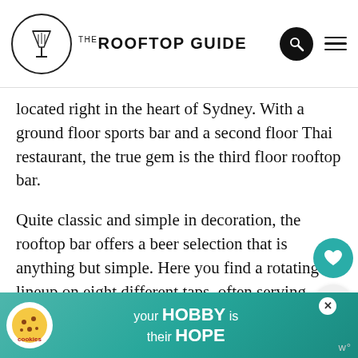The Rooftop Guide
located right in the heart of Sydney. With a ground floor sports bar and a second floor Thai restaurant, the true gem is the third floor rooftop bar.
Quite classic and simple in decoration, the rooftop bar offers a beer selection that is anything but simple. Here you find a rotating lineup on eight different taps, often serving something from local and independent brewers, along with different tap takeovers every now and then.
So Hotel Sweeney's is really a perfect Sydney rooftop bar for...
[Figure (screenshot): Advertisement banner: cookies for kid cancer - your HOBBY is their HOPE, with teal background and close button]